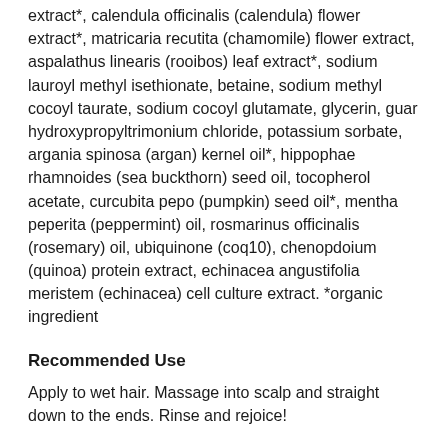extract*, calendula officinalis (calendula) flower extract*, matricaria recutita (chamomile) flower extract, aspalathus linearis (rooibos) leaf extract*, sodium lauroyl methyl isethionate, betaine, sodium methyl cocoyl taurate, sodium cocoyl glutamate, glycerin, guar hydroxypropyltrimonium chloride, potassium sorbate, argania spinosa (argan) kernel oil*, hippophae rhamnoides (sea buckthorn) seed oil, tocopherol acetate, curcubita pepo (pumpkin) seed oil*, mentha peperita (peppermint) oil, rosmarinus officinalis (rosemary) oil, ubiquinone (coq10), chenopdoium (quinoa) protein extract, echinacea angustifolia meristem (echinacea) cell culture extract. *organic ingredient
Recommended Use
Apply to wet hair. Massage into scalp and straight down to the ends. Rinse and rejoice!
Recommended Dosage
Apply to wet hair. Massage into scalp and straight down